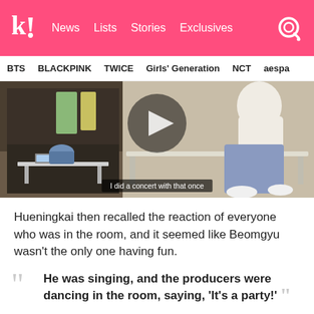k! News Lists Stories Exclusives
BTS BLACKPINK TWICE Girls' Generation NCT aespa
[Figure (screenshot): Video thumbnail showing a studio scene with two people. Subtitle reads: 'I did a concert with that once']
Hueningkai then recalled the reaction of everyone who was in the room, and it seemed like Beomgyu wasn't the only one having fun.
He was singing, and the producers were dancing in the room, saying, 'It's a party!'